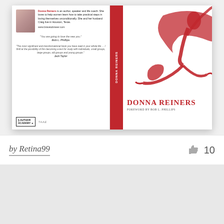[Figure (photo): Book cover for a book by Donna Reiners with foreword by Bob L. Phillips. Shows the back cover with author photo and bio, red spine with author name, and front cover with a dancer in red flowing fabric. Publisher: Author Academy Elite.]
by Retina99
[Figure (other): Thumbs up / like icon, gray colored]
10
[Figure (other): Gray placeholder image area at the bottom of the page]